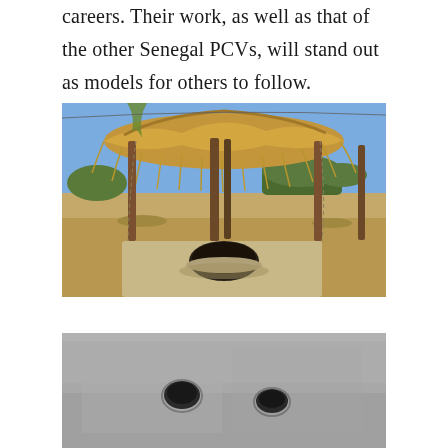careers. Their work, as well as that of the other Senegal PCVs, will stand out as models for others to follow.
[Figure (photo): A traditional African well structure with a thatched grass roof supported by wooden poles, set in a dry sandy landscape with sparse vegetation in the background. A dark circular well opening is visible at the base.]
[Figure (photo): Close-up view of a concrete well cover or apron with two small dark holes/openings visible on the gray concrete surface.]